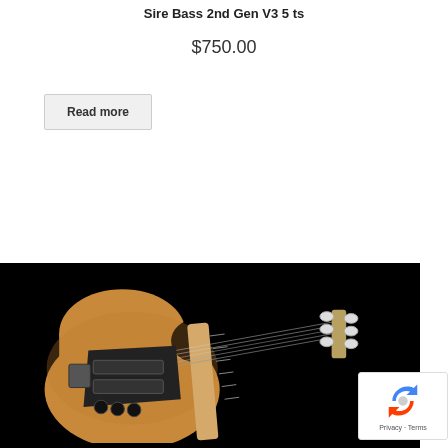Sire Bass 2nd Gen V3 5 ts
$750.00
Read more
[Figure (photo): A Sire bass guitar (natural wood finish, 5-string, jazz-style body) photographed against a black background. The guitar has a maple neck and black pickguard with multiple pickups.]